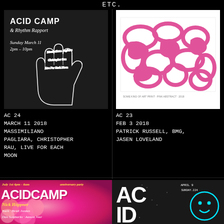ETC.
[Figure (illustration): Acid Camp & Rhythm Rapport flyer with outline of hand on dark background. Text: ACID CAMP & Rhythm Rapport, Sunday March 11, 2pm - 10pm, with artist names on the fingers.]
[Figure (illustration): Pink abstract art print on white background with curving shapes and small text at bottom.]
AC 24
MARCH 11 2018
MASSIMILIANO
PAGLIARA, CHRISTOPHER
RAU, LIVE FOR EACH
MOON
AC 23
FEB 3 2018
PATRICK RUSSELL, BMG,
JASEN LOVELAND
[Figure (illustration): Acid Camp anniversary party flyer with pink floral background. Text: July 1st 4pm - 6am ACIDCAMP anniversary party Nick Höppner Nark Heidi Jordan Dan Sumbarks Aasum Jour]
[Figure (illustration): Acid Camp dark flyer with grainy texture, large white text AC ID, small text APRIL 9 SUNDAY and a cyan smiley face circle on right side.]